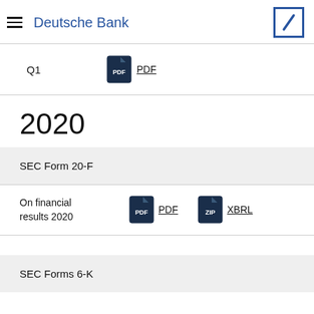Deutsche Bank
Q1
PDF
2020
SEC Form 20-F
On financial results 2020
PDF  XBRL
SEC Forms 6-K